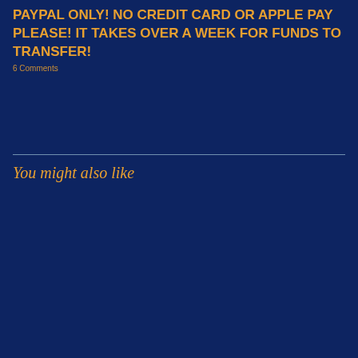PAYPAL ONLY! NO CREDIT CARD OR APPLE PAY PLEASE! IT TAKES OVER A WEEK FOR FUNDS TO TRANSFER!
You might also like